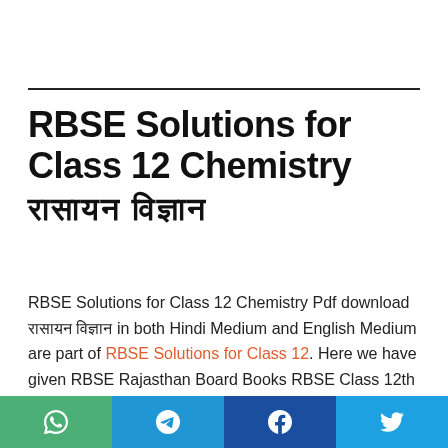RBSE Solutions for Class 12 Chemistry रासायन विज्ञान
RBSE Solutions for Class 12 Chemistry Pdf download रासायन विज्ञान in both Hindi Medium and English Medium are part of RBSE Solutions for Class 12. Here we have given RBSE Rajasthan Board Books RBSE Class 12th Chemistry Solutions Pdf Rasayan Vigyan.
Social share bar: WhatsApp, Telegram, Facebook, Twitter